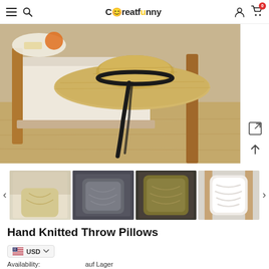Creatfunny — navigation bar with menu, search, logo, account, cart (0)
[Figure (photo): Main product photo: a straw hat with black ribbon resting on a cream/white upholstered armchair with wooden frame, on a light wood floor. Food/items visible in upper background.]
[Figure (photo): Thumbnail 1: light cream/yellow hand-knitted throw pillow on white armchair]
[Figure (photo): Thumbnail 2: dark grey/charcoal hand-knitted throw pillow on dark bedding]
[Figure (photo): Thumbnail 3: olive/mustard hand-knitted throw pillow on dark fabric]
[Figure (photo): Thumbnail 4: white fluffy throw pillow on wooden chair with light background]
Hand Knitted Throw Pillows
USD
Availability: auf Lager